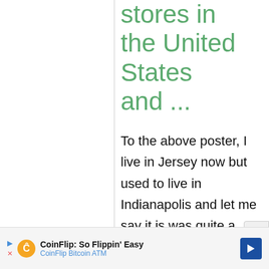stores in the United States and ...
To the above poster, I live in Jersey now but used to live in Indianapolis and let me say it is was quite a difficult task to find a...
[Figure (screenshot): Advertisement bar at bottom: CoinFlip Bitcoin ATM ad with play/close icons, coin logo, text 'CoinFlip: So Flippin' Easy' and 'CoinFlip Bitcoin ATM', blue diamond arrow icon]